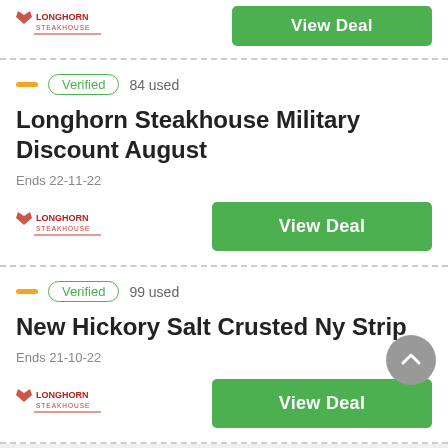[Figure (logo): Longhorn Steakhouse logo (top card)]
View Deal
Verified  84 used
Longhorn Steakhouse Military Discount August
Ends 22-11-22
[Figure (logo): Longhorn Steakhouse logo (second card)]
View Deal
Verified  99 used
New Hickory Salt Crusted Ny Strip
Ends 21-10-22
[Figure (logo): Longhorn Steakhouse logo (third card)]
View Deal